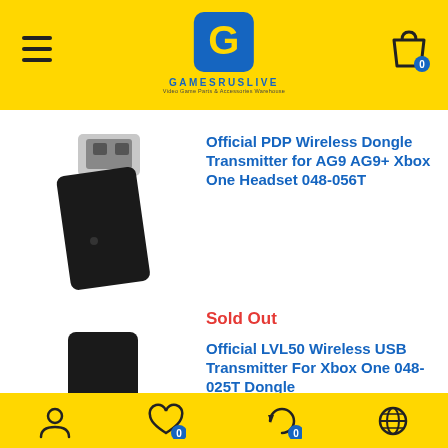GamesRUsLive - Video Game Parts & Accessories Warehouse
[Figure (photo): USB wireless dongle transmitter, black rectangular adapter with USB-A connector]
Official PDP Wireless Dongle Transmitter for AG9 AG9+ Xbox One Headset 048-056T
Sold Out
[Figure (photo): Small black rectangular USB transmitter dongle]
Official LVL50 Wireless USB Transmitter For Xbox One 048-025T Dongle
Account | Wishlist 0 | Cart 0 | Language